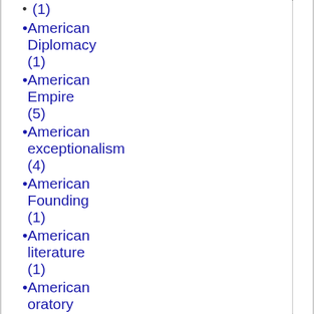(1)
American Diplomacy (1)
American Empire (5)
American exceptionalism (4)
American Founding (1)
American literature (1)
American oratory (1)
American political tradition (16)
American spirit (1)